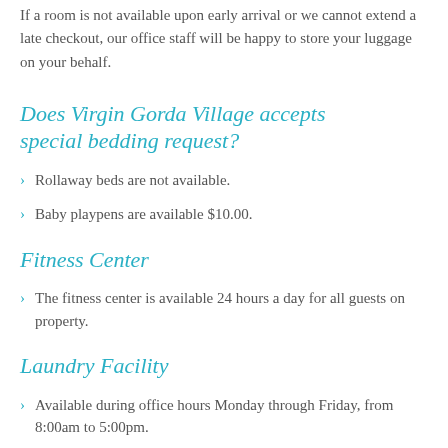If a room is not available upon early arrival or we cannot extend a late checkout, our office staff will be happy to store your luggage on your behalf.
Does Virgin Gorda Village accepts special bedding request?
Rollaway beds are not available.
Baby playpens are available $10.00.
Fitness Center
The fitness center is available 24 hours a day for all guests on property.
Laundry Facility
Available during office hours Monday through Friday, from 8:00am to 5:00pm.
On Saturday and Sunday, please check availability